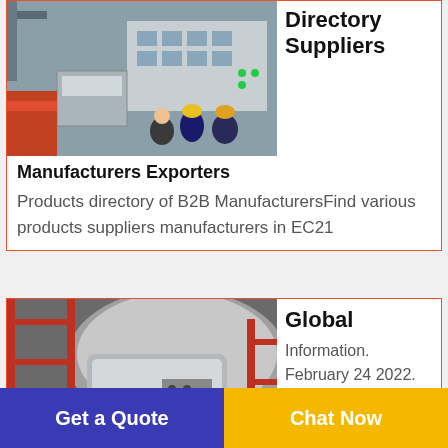[Figure (photo): Industrial factory scene with workers in hard hats at control panels and machinery]
Directory Suppliers
Manufacturers Exporters
Products directory of B2B ManufacturersFind various products suppliers manufacturers in EC21
[Figure (photo): Industrial machinery - large grey metal machine in a factory setting with red frame structures]
Global
Information. February 24 2022. Recognized as a Clarivate Top 100 Global Innovator
Get a Quote
Chat Now